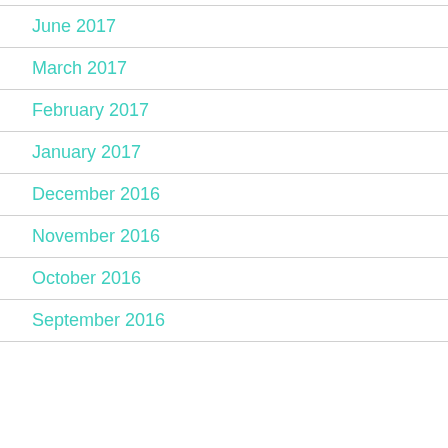June 2017
March 2017
February 2017
January 2017
December 2016
November 2016
October 2016
September 2016